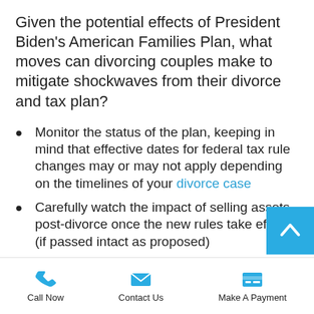Given the potential effects of President Biden's American Families Plan, what moves can divorcing couples make to mitigate shockwaves from their divorce and tax plan?
Monitor the status of the plan, keeping in mind that effective dates for federal tax rule changes may or may not apply depending on the timelines of your divorce case
Carefully watch the impact of selling assets post-divorce once the new rules take effect (if passed intact as proposed)
Call Now | Contact Us | Make A Payment